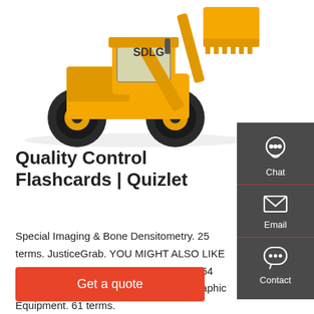[Figure (photo): Yellow SDLG front loader/wheel loader construction machine on white background]
[Figure (infographic): Dark gray sidebar with three contact options: Chat (headset icon), Email (envelope icon), Contact (speech bubble icon), separated by red horizontal lines]
Quality Control Flashcards | Quizlet
Special Imaging & Bone Densitometry. 25 terms. JusticeGrab. YOU MIGHT ALSO LIKE RAD 125 Ch 31 - Quality Management. 54 terms. kcella02. Quality Control Radiographic Equipment. 61 terms.
Get a quote